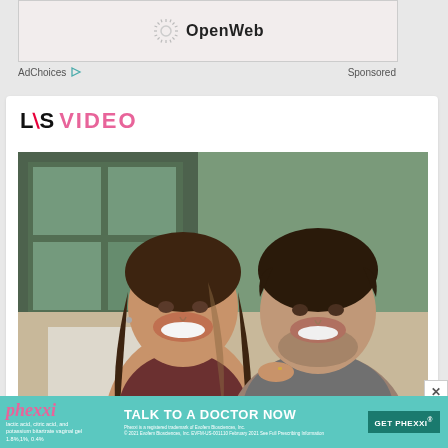[Figure (other): OpenWeb advertisement banner with OpenWeb logo (sunburst icon and text) on a light pinkish background]
AdChoices ▷   Sponsored
[Figure (other): L&S VIDEO section logo with black and red L&S letters and pink VIDEO text]
[Figure (photo): Photo of a smiling couple — a woman with long brown hair leaning against a man with dark curly hair, both smiling in an indoor setting]
[Figure (other): Phexxi advertisement banner with teal background. Text: TALK TO A DOCTOR NOW and GET PHEXXI button. Fine print: Phexxi is a registered trademark of Evofem Biosciences, Inc. © 2021 Evofem Biosciences, Inc. EVFM-US-001110 February 2021 See Full Prescribing Information]